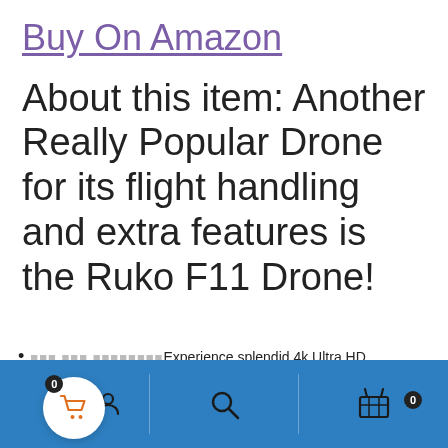Buy On Amazon
About this item: Another Really Popular Drone for its flight handling and extra features is the Ruko F11 Drone!
🔲🔲🔲 🔲🔲🔲 🔲🔲🔲🔲🔲🔲🔲🔲Experience splendid 4k Ultra HD
[Figure (screenshot): Website bottom navigation bar with cart icon (badge 0), user icon, search icon, and basket icon (badge 0) on a blue background]